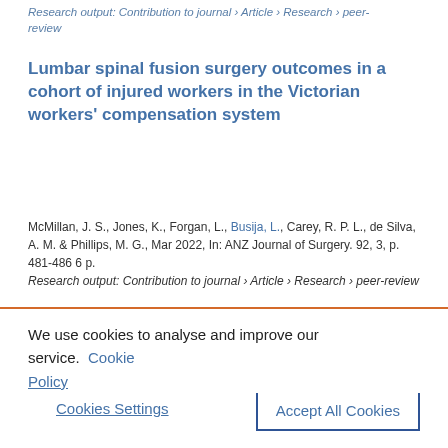Research output: Contribution to journal › Article › Research › peer-review
Lumbar spinal fusion surgery outcomes in a cohort of injured workers in the Victorian workers' compensation system
McMillan, J. S., Jones, K., Forgan, L., Busija, L., Carey, R. P. L., de Silva, A. M. & Phillips, M. G., Mar 2022, In: ANZ Journal of Surgery. 92, 3, p. 481-486 6 p.
Research output: Contribution to journal › Article › Research › peer-review
We use cookies to analyse and improve our service. Cookie Policy
Cookies Settings
Accept All Cookies